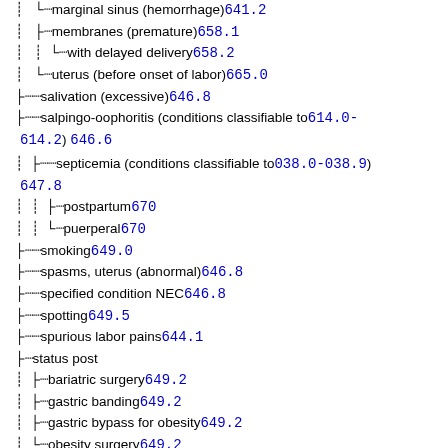marginal sinus (hemorrhage) 641.2
membranes (premature) 658.1
with delayed delivery 658.2
uterus (before onset of labor) 665.0
salivation (excessive) 646.8
salpingo-oophoritis (conditions classifiable to 614.0-614.2) 646.6
septicemia (conditions classifiable to 038.0-038.9) 647.8
postpartum 670
puerperal 670
smoking 649.0
spasms, uterus (abnormal) 646.8
specified condition NEC 646.8
spotting 649.5
spurious labor pains 644.1
status post
bariatric surgery 649.2
gastric banding 649.2
gastric bypass for obesity 649.2
obesity surgery 649.2
superfecundation 651.9
superfetation 651.9